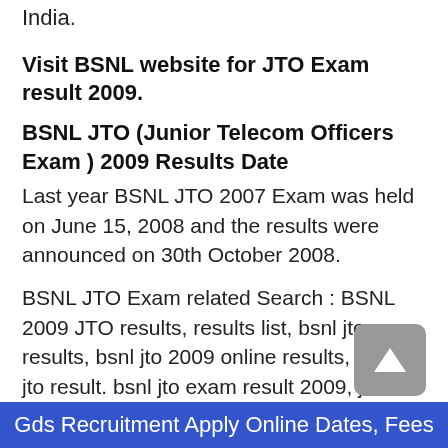India.
Visit BSNL website for JTO Exam result 2009.
BSNL JTO (Junior Telecom Officers Exam ) 2009 Results Date
Last year BSNL JTO 2007 Exam was held on June 15, 2008 and the results were announced on 30th October 2008.
BSNL JTO Exam related Search : BSNL 2009 JTO results, results list, bsnl jto results, bsnl jto 2009 online results, check jto result. bsnl jto exam result 2009, jto 2009 results held on 21 – JUN -2009, jto answer key,
Number of View :4837
Possibly Related Posts:
Gds Recruitment Apply Online Dates, Fees